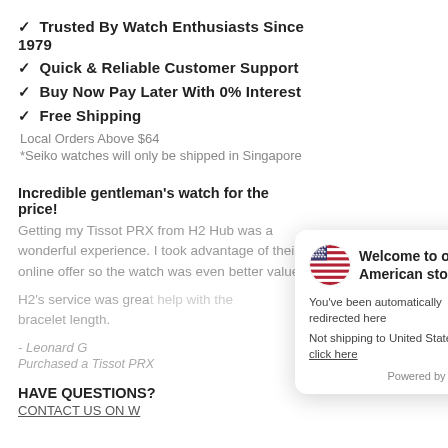✓ Trusted By Watch Enthusiasts Since 1979
✓ Quick & Reliable Customer Support
✓ Buy Now Pay Later With 0% Interest
✓ Free Shipping
Local Orders Above $64
*Seiko watches will only be shipped in Singapore
Incredible gentleman's watch for the price!
Getting my Tissot PRX from H2 Hub was a wonderful experience. I took advantage of their online offer so the watch was even better value!
H2's service was great... bracelet length.
- Leonard G
Purchased a Tissot PRX...
HAVE QUESTIONS?
CONTACT US ON W...
[Figure (infographic): Modal popup: Welcome to our American store. Contains US flag icon, close button (×), text 'You've been automatically redirected here', 'Not shipping to United States click here', 'Powered by glopal']